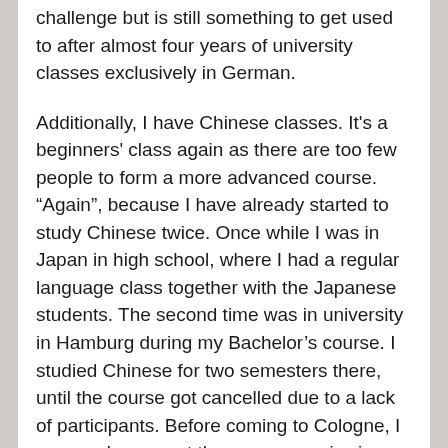challenge but is still something to get used to after almost four years of university classes exclusively in German.
Additionally, I have Chinese classes. It's a beginners' class again as there are too few people to form a more advanced course. “Again”, because I have already started to study Chinese twice. Once while I was in Japan in high school, where I had a regular language class together with the Japanese students. The second time was in university in Hamburg during my Bachelor’s course. I studied Chinese for two semesters there, until the course got cancelled due to a lack of participants. Before coming to Cologne, I more or less spent the summer reviewing and studying everything I could find in my textbook from my second course – in hope of being able to get into an advanced course